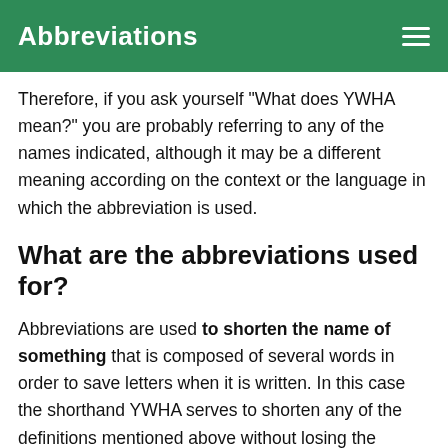Abbreviations
Therefore, if you ask yourself "What does YWHA mean?" you are probably referring to any of the names indicated, although it may be a different meaning according on the context or the language in which the abbreviation is used.
What are the abbreviations used for?
Abbreviations are used to shorten the name of something that is composed of several words in order to save letters when it is written. In this case the shorthand YWHA serves to shorten any of the definitions mentioned above without losing the